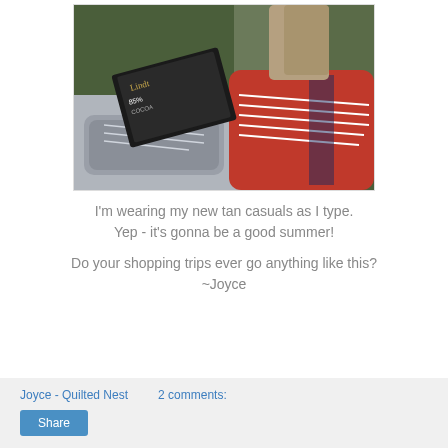[Figure (photo): Photo of shoes (grey sneakers and red canvas sneakers) along with a Lindt 85% Cocoa chocolate bar, placed on what appears to be an outdoor surface with greenery in background.]
I'm wearing my new tan casuals as I type. Yep - it's gonna be a good summer!

Do your shopping trips ever go anything like this? ~Joyce
Joyce - Quilted Nest     2 comments:     Share